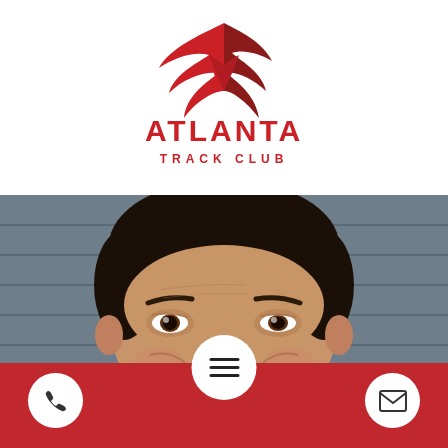[Figure (logo): Atlanta Track Club logo — red winged bird/letter A above text ATLANTA TRACK CLUB in red]
[Figure (photo): Close-up headshot of a middle-aged man with dark hair, smiling, against a grey brick/concrete background]
[Figure (infographic): Red bottom navigation bar with white circular phone icon on the left, white circular hamburger menu button in the center (overlapping photo and bar), and white circular email/envelope icon on the right]